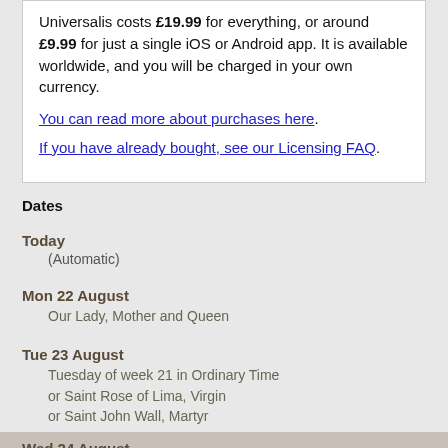Universalis costs £19.99 for everything, or around £9.99 for just a single iOS or Android app. It is available worldwide, and you will be charged in your own currency.
You can read more about purchases here.
If you have already bought, see our Licensing FAQ.
Dates
Today
(Automatic)
Mon 22 August
Our Lady, Mother and Queen
Tue 23 August
Tuesday of week 21 in Ordinary Time
or Saint Rose of Lima, Virgin
or Saint John Wall, Martyr
Wed 24 August
Saint Bartholomew, Apostle
Thu 25 August
Thursday of week 21 in Ordinary Time